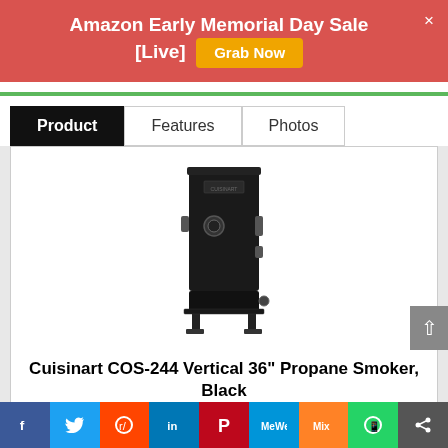Amazon Early Memorial Day Sale [Live]  Grab Now
[Figure (screenshot): Navigation tabs: Product (active/black), Features, Photos]
[Figure (photo): Cuisinart COS-244 Vertical 36 inch Propane Smoker, Black product image - tall black vertical propane smoker]
Cuisinart COS-244 Vertical 36" Propane Smoker, Black
5. 45 SQUARE FEET OF INTERIOR: The spacious 5. 45 square foot interior means there is plenty of room to smoke a variety of meats along
Social share buttons: Facebook, Twitter, Reddit, LinkedIn, Pinterest, MeWe, Mix, WhatsApp, Share